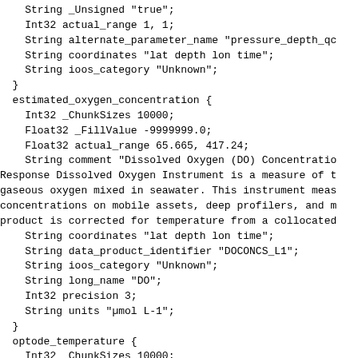String _Unsigned "true";
    Int32 actual_range 1, 1;
    String alternate_parameter_name "pressure_depth_qc
    String coordinates "lat depth lon time";
    String ioos_category "Unknown";
  }
  estimated_oxygen_concentration {
    Int32 _ChunkSizes 10000;
    Float32 _FillValue -9999999.0;
    Float32 actual_range 65.665, 417.24;
    String comment "Dissolved Oxygen (DO) Concentratio
Response Dissolved Oxygen Instrument is a measure of t
gaseous oxygen mixed in seawater. This instrument meas
concentrations on mobile assets, deep profilers, and m
product is corrected for temperature from a collocated
    String coordinates "lat depth lon time";
    String data_product_identifier "DOCONCS_L1";
    String ioos_category "Unknown";
    String long_name "DO";
    Int32 precision 3;
    String units "µmol L-1";
  }
  optode_temperature {
    Int32 _ChunkSizes 10000;
    Float32 _FillValue -9999999.0;